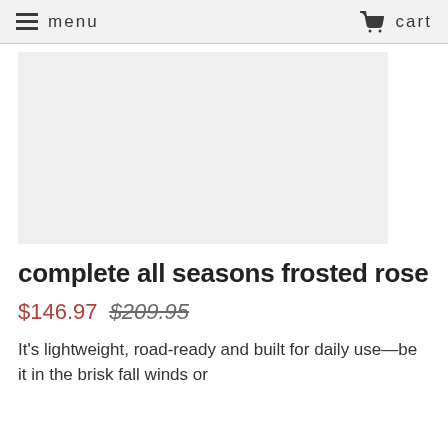menu  cart
[Figure (photo): Product image placeholder — large light gray rectangle representing a product photo area]
complete all seasons frosted rose
$146.97  $209.95
It's lightweight, road-ready and built for daily use—be it in the brisk fall winds or